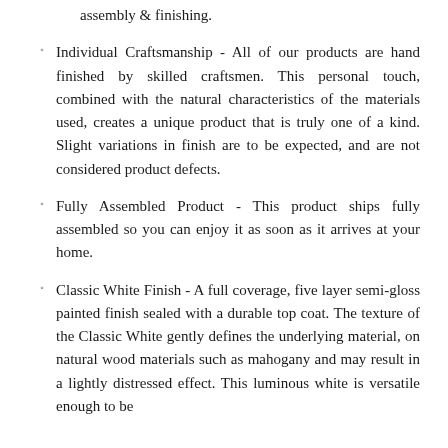assembly & finishing.
Individual Craftsmanship - All of our products are hand finished by skilled craftsmen. This personal touch, combined with the natural characteristics of the materials used, creates a unique product that is truly one of a kind. Slight variations in finish are to be expected, and are not considered product defects.
Fully Assembled Product - This product ships fully assembled so you can enjoy it as soon as it arrives at your home.
Classic White Finish - A full coverage, five layer semi-gloss painted finish sealed with a durable top coat. The texture of the Classic White gently defines the underlying material, on natural wood materials such as mahogany and may result in a lightly distressed effect. This luminous white is versatile enough to be